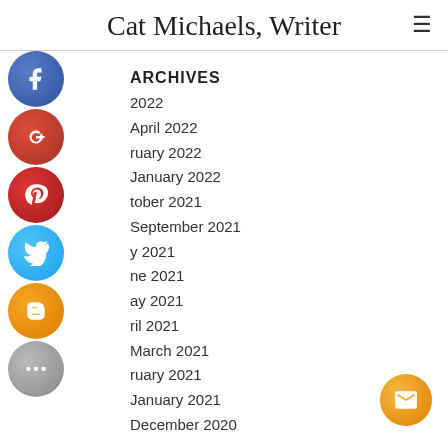Cat Michaels, Writer
ARCHIVES
2022
April 2022
ruary 2022
January 2022
tober 2021
September 2021
y 2021
ne 2021
ay 2021
ril 2021
March 2021
ruary 2021
January 2021
December 2020
[Figure (infographic): Social media icon buttons (Facebook, Google+, Pinterest, Twitter, Blogger, More) stacked vertically on left side, and an email button bottom-right]